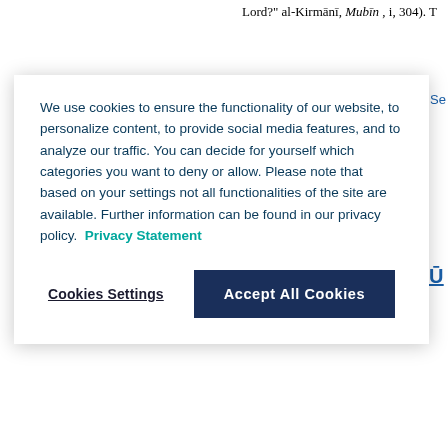Lord?" al-Kirmānī, Mubīn, i, 304). T
Se
Ū
We use cookies to ensure the functionality of our website, to personalize content, to provide social media features, and to analyze our traffic. You can decide for yourself which categories you want to deny or allow. Please note that based on your settings not all functionalities of the site are available. Further information can be found in our privacy policy. Privacy Statement
Cookies Settings
Accept All Cookies
) c
moved to Karbalā', where he studie head of the Shaykhī school [ q.v.]. F group of Shaykhī ʿulamāʾ to accept the Bāb) as Rashtī's successor in 126 Shīrāzī on a ḥadjdj journey (1844-5
Source: Encyclopaedia of Islam, Se